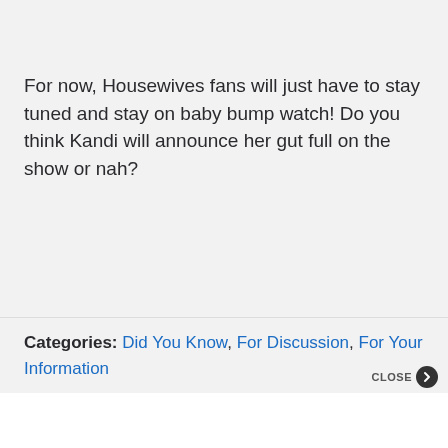For now, Housewives fans will just have to stay tuned and stay on baby bump watch! Do you think Kandi will announce her gut full on the show or nah?
Categories: Did You Know, For Discussion, For Your Information